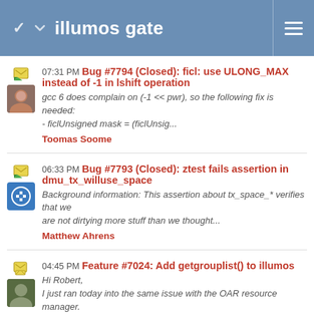illumos gate
07:31 PM Bug #7794 (Closed): ficl: use ULONG_MAX instead of -1 in lshift operation
gcc 6 does complain on (-1 << pwr), so the following fix is needed:
- ficlUnsigned mask = (ficlUnsig...
Toomas Soome
06:33 PM Bug #7793 (Closed): ztest fails assertion in dmu_tx_willuse_space
Background information: This assertion about tx_space_* verifies that we are not dirtying more stuff than we thought...
Matthew Ahrens
04:45 PM Feature #7024: Add getgrouplist() to illumos
Hi Robert,
I just ran today into the same issue with the OAR resource manager.